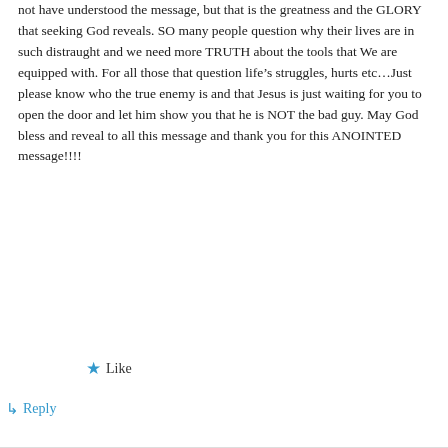not have understood the message, but that is the greatness and the GLORY that seeking God reveals. SO many people question why their lives are in such distraught and we need more TRUTH about the tools that We are equipped with. For all those that question life's struggles, hurts etc…Just please know who the true enemy is and that Jesus is just waiting for you to open the door and let him show you that he is NOT the bad guy. May God bless and reveal to all this message and thank you for this ANOINTED message!!!!
Like
Reply